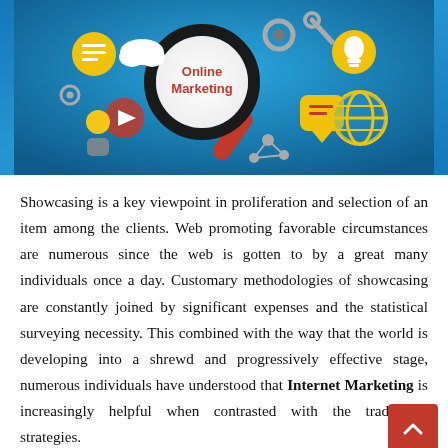[Figure (illustration): Online Marketing infographic: a hand holding a magnifying glass with 'Online Marketing' text inside the lens, surrounded by icons including a document, cloud, lightbulb, play button, gear, social media, globe, and a person silhouette, all on a blue gradient background.]
Showcasing is a key viewpoint in proliferation and selection of an item among the clients. Web promoting favorable circumstances are numerous since the web is gotten to by a great many individuals once a day. Customary methodologies of showcasing are constantly joined by significant expenses and the statistical surveying necessity. This combined with the way that the world is developing into a shrewd and progressively effective stage, numerous individuals have understood that Internet Marketing is increasingly helpful when contrasted with the traditional strategies.